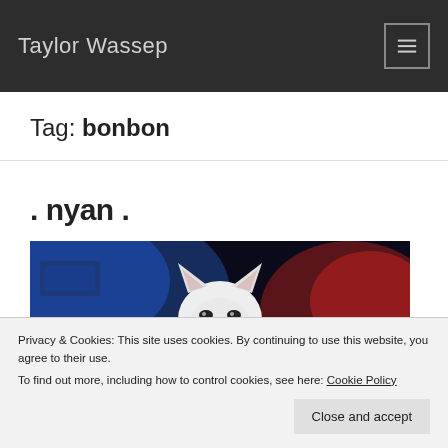Taylor Wassep
Tag: bonbon
. nyan .
[Figure (photo): A white cat with ears visible, lit by colorful blue and red lighting against a dark background]
Privacy & Cookies: This site uses cookies. By continuing to use this website, you agree to their use.
To find out more, including how to control cookies, see here: Cookie Policy
Close and accept